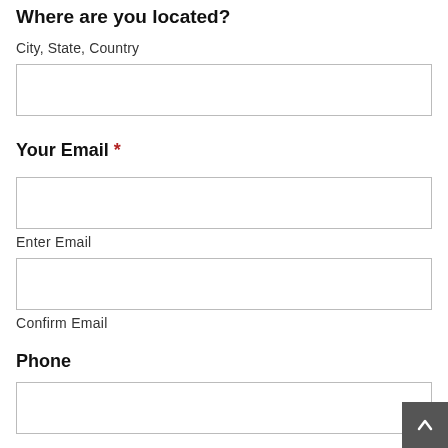Where are you located?
City, State, Country
[Figure (other): Text input field for city, state, country]
Your Email *
[Figure (other): Text input field for email]
Enter Email
[Figure (other): Text input field for confirm email]
Confirm Email
Phone
[Figure (other): Text input field for phone number]